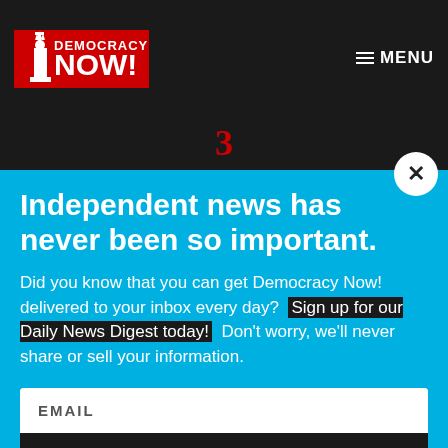[Figure (logo): Democracy Now! logo — red text with Statue of Liberty silhouette]
≡ MENU
3
Independent news has never been so important.
Did you know that you can get Democracy Now! delivered to your inbox every day?  Sign up for our Daily News Digest today!  Don't worry, we'll never share or sell your information.
EMAIL
SIGN UP!